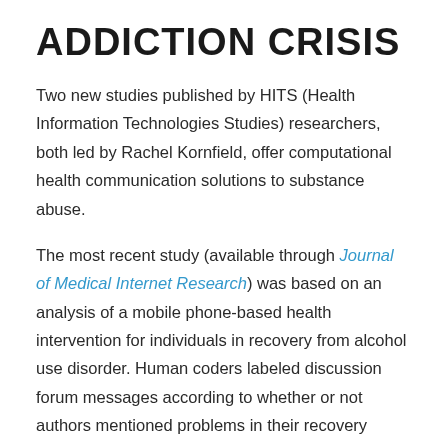ADDICTION CRISIS
Two new studies published by HITS (Health Information Technologies Studies) researchers, both led by Rachel Kornfield, offer computational health communication solutions to substance abuse.
The most recent study (available through Journal of Medical Internet Research) was based on an analysis of a mobile phone-based health intervention for individuals in recovery from alcohol use disorder. Human coders labeled discussion forum messages according to whether or not authors mentioned problems in their recovery